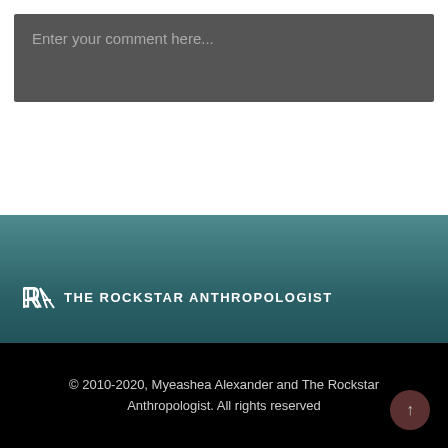Enter your comment here...
[Figure (logo): The Rockstar Anthropologist logo with stylized RA icon and site name text in white on teal gradient background]
© 2010-2020, Myeashea Alexander and The Rockstar Anthropologist. All rights reserved